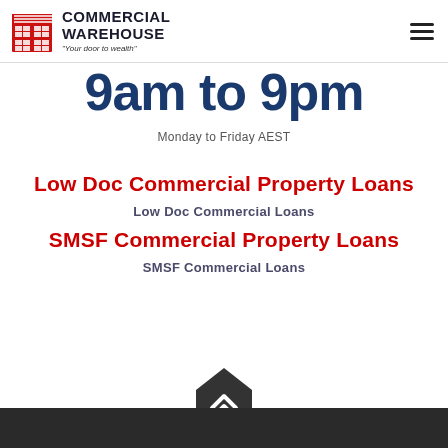Commercial Warehouse — Your door to wealth
9am to 9pm
Monday to Friday AEST
Low Doc Commercial Property Loans
Low Doc Commercial Loans
SMSF Commercial Property Loans
SMSF Commercial Loans